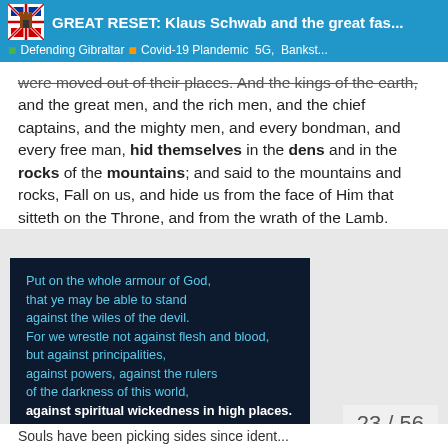GREAT RESET: Klaus Schwab and the great fas... | Defending Gibraltar | Covid-19 Plandemic  5G,  Bankst...
were moved out of their places. And the kings of the earth, and the great men, and the rich men, and the chief captains, and the mighty men, and every bondman, and every free man, hid themselves in the dens and in the rocks of the mountains; and said to the mountains and rocks, Fall on us, and hide us from the face of Him that sitteth on the Throne, and from the wrath of the Lamb.
[Figure (illustration): Dark navy background image with scripture text in blue and white: 'Put on the whole armour of God, that ye may be able to stand against the wiles of the devil. For we wrestle not against flesh and blood, but against principalities, against powers, against the rulers of the darkness of this world, against spiritual wickedness in high places. Ephesians 6:11-12']
23 / 56
Souls have been picking sides since ident...